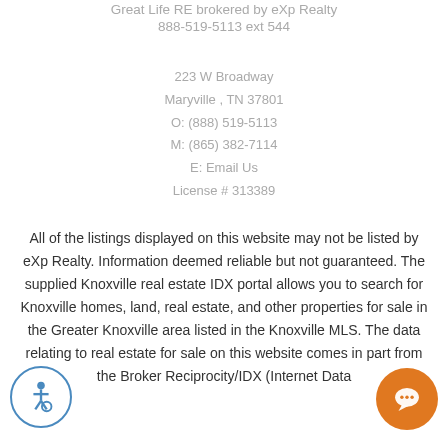Great Life RE brokered by eXp Realty
888-519-5113 ext 544
223 W Broadway
Maryville , TN 37801
O: (888) 519-5113
M: (865) 382-7114
E: Email Us
License # 313389
All of the listings displayed on this website may not be listed by eXp Realty. Information deemed reliable but not guaranteed. The supplied Knoxville real estate IDX portal allows you to search for Knoxville homes, land, real estate, and other properties for sale in the Greater Knoxville area listed in the Knoxville MLS. The data relating to real estate for sale on this website comes in part from the Broker Reciprocity/IDX (Internet Data